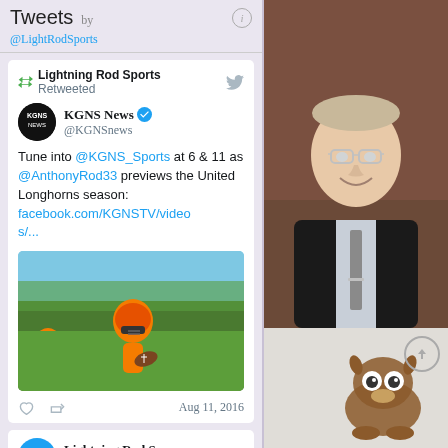Tweets by @LightRodSports
Lightning Rod Sports Retweeted
KGNS News @KGNSnews
Tune into @KGNS_Sports at 6 & 11 as @AnthonyRod33 previews the United Longhorns season: facebook.com/KGNSTV/videos/...
[Figure (photo): Football player in orange helmet holding ball at practice]
Aug 11, 2016
Lightning Rod Sp @LightRodSports
[Figure (photo): Professional headshot of smiling man in dark suit with glasses]
[Figure (illustration): Cartoon character illustration at bottom right]